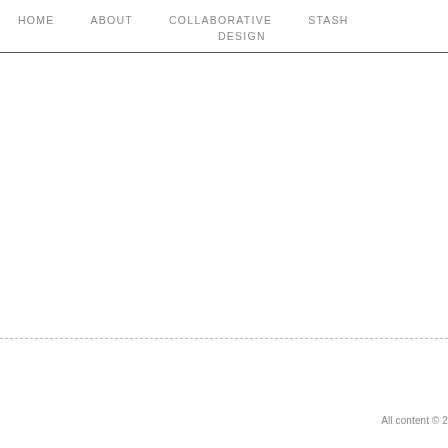HOME   ABOUT   COLLABORATIVE   STASH   DESIGN
All content © 2